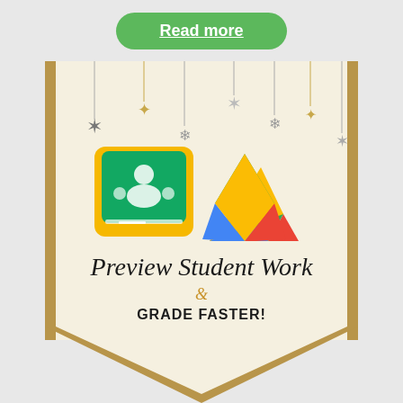Read more
[Figure (illustration): Educational banner with Google Classroom and Google Drive logos, decorative snowflakes hanging from top, cream/beige pennant-shaped banner with gold borders. Text reads 'Preview Student Work & GRADE FASTER!' in stylized fonts.]